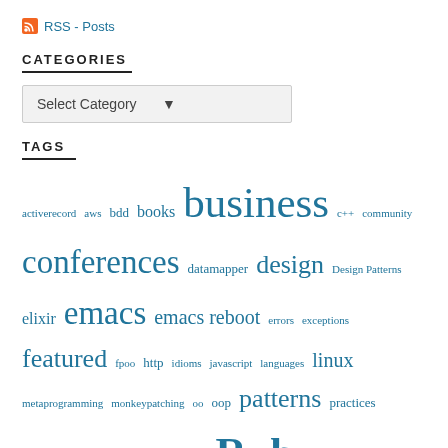RSS - Posts
CATEGORIES
Select Category
TAGS
activerecord aws bdd books business c++ community conferences datamapper design Design Patterns elixir emacs emacs reboot errors exceptions featured fpoo http idioms javascript languages linux metaprogramming monkeypatching oo oop patterns practices rails Rake refactoring rspec Ruby Ruby on Rails RubyTapas SIGAVDI smalltalk software design talks TDD testing There's Always Money in the Banana Stand tools